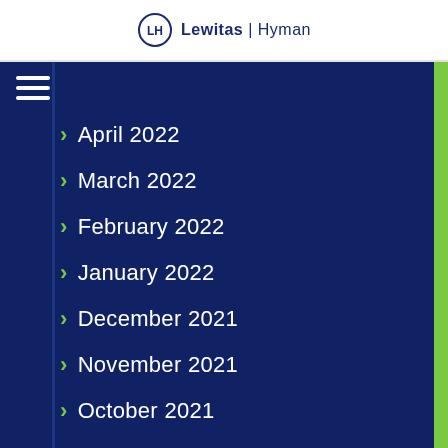LH Lewitas | Hyman
April 2022
March 2022
February 2022
January 2022
December 2021
November 2021
October 2021
September 2021
August 2021